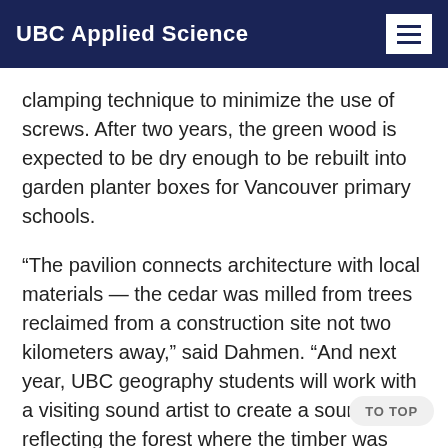UBC Applied Science
clamping technique to minimize the use of screws. After two years, the green wood is expected to be dry enough to be rebuilt into garden planter boxes for Vancouver primary schools.
“The pavilion connects architecture with local materials — the cedar was milled from trees reclaimed from a construction site not two kilometers away,” said Dahmen. “And next year, UBC geography students will work with a visiting sound artist to create a sound piece reflecting the forest where the timber was harvested.”
Emily Kazanowski, one of the students who on the pavilion, appreciates the transformation of